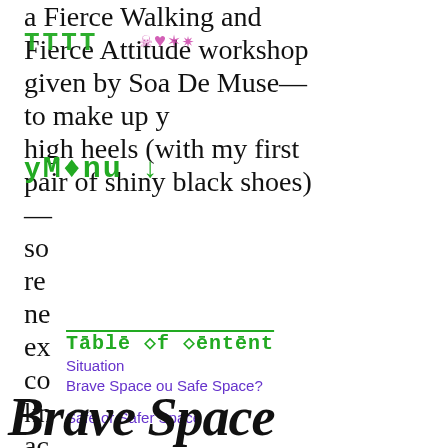a Fierce Walking and Fierce Attitude workshop given by Soa De Muse—to make up y high heels (with my first pair of shiny black shoes)—so re ne ex co kn ac an
Table of content
Situation
Brave Space ou Safe Space?
Safe or Safer Space
Context
Proposition for a Brave Space scenario
Brave Space